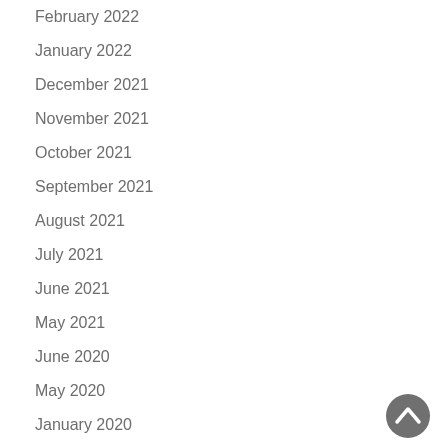February 2022
January 2022
December 2021
November 2021
October 2021
September 2021
August 2021
July 2021
June 2021
May 2021
June 2020
May 2020
January 2020
[Figure (illustration): Dark grey circular back-to-top arrow button in the bottom right corner]